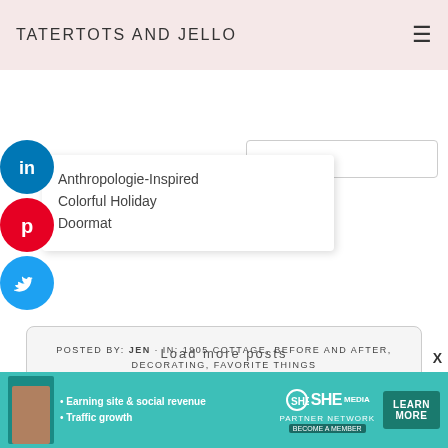TATERTOTS AND JELLO
[Figure (screenshot): Social media sidebar icons: LinkedIn (blue circle), Pinterest (red circle), Twitter (blue circle)]
Anthropologie-Inspired Colorful Holiday Doormat
[Figure (screenshot): Search input box (rounded rectangle, light border)]
Load more posts
Be the first to give thanks
[Figure (screenshot): Social share buttons row: Facebook (blue), LinkedIn (blue), Pinterest (red), Twitter (blue), Email (grey)]
POSTED BY: JEN · IN: 1905 COTTAGE, BEFORE AND AFTER, DECORATING, FAVORITE THINGS
[Figure (screenshot): SHE Partner Network advertisement banner with teal background, woman photo, bullet points about earning site & social revenue and traffic growth, and a LEARN MORE button]